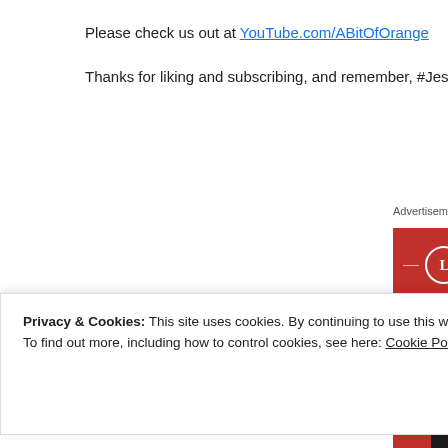Please check us out at YouTube.com/ABitOfOrange
Thanks for liking and subscribing, and remember, #JesusL
Advertisements
[Figure (illustration): Longreads advertisement banner with red background. Shows the Longreads logo (circle with L), tagline 'The best stories on the web – ours, and everyone else's.' and a 'Start reading' button.]
Privacy & Cookies: This site uses cookies. By continuing to use this website, you agree to their use.
To find out more, including how to control cookies, see here: Cookie Policy